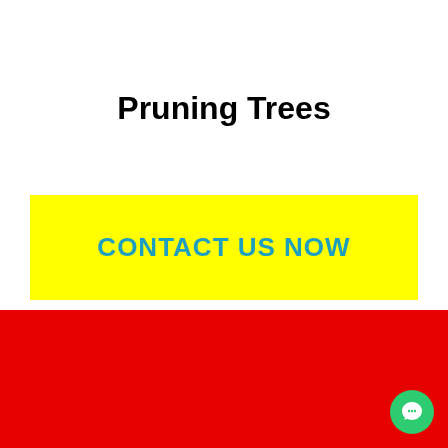Pruning Trees
CONTACT US NOW
[Figure (other): Green circular chat bubble icon in bottom-right corner over red background]